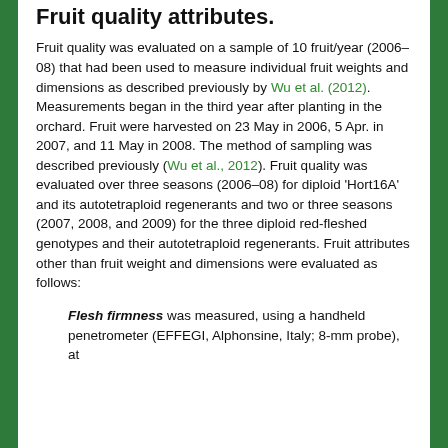Fruit quality attributes.
Fruit quality was evaluated on a sample of 10 fruit/year (2006–08) that had been used to measure individual fruit weights and dimensions as described previously by Wu et al. (2012). Measurements began in the third year after planting in the orchard. Fruit were harvested on 23 May in 2006, 5 Apr. in 2007, and 11 May in 2008. The method of sampling was described previously (Wu et al., 2012). Fruit quality was evaluated over three seasons (2006–08) for diploid 'Hort16A' and its autotetraploid regenerants and two or three seasons (2007, 2008, and 2009) for the three diploid red-fleshed genotypes and their autotetraploid regenerants. Fruit attributes other than fruit weight and dimensions were evaluated as follows:
Flesh firmness was measured, using a handheld penetrometer (EFFEGI, Alphonsine, Italy; 8-mm probe), at